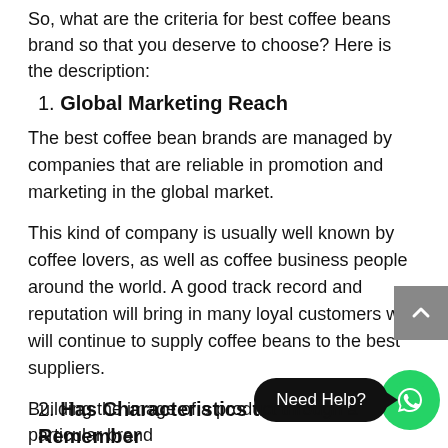So, what are the criteria for best coffee beans brand so that you deserve to choose? Here is the description:
1. Global Marketing Reach
The best coffee bean brands are managed by companies that are reliable in promotion and marketing in the global market.
This kind of company is usually well known by coffee lovers, as well as coffee business people around the world. A good track record and reputation will bring in many loyal customers who will continue to supply coffee beans to the best suppliers.
2. Has Characteristics that are Easy to Remember
Building the image of a product through a particular brand...